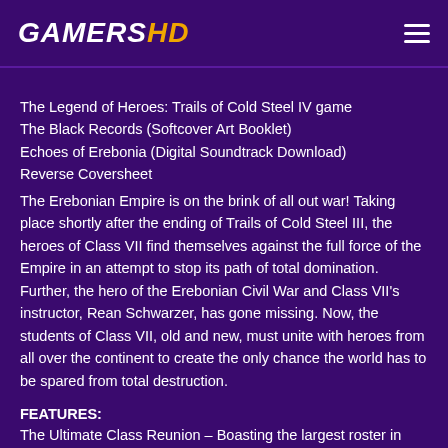GAMERS HD
The Legend of Heroes: Trails of Cold Steel IV game
The Black Records (Softcover Art Booklet)
Echoes of Erebonia (Digital Soundtrack Download)
Reverse Coversheet
The Erebonian Empire is on the brink of all out war! Taking place shortly after the ending of Trails of Cold Steel III, the heroes of Class VII find themselves against the full force of the Empire in an attempt to stop its path of total domination. Further, the hero of the Erebonian Civil War and Class VII's instructor, Rean Schwarzer, has gone missing. Now, the students of Class VII, old and new, must unite with heroes from all over the continent to create the only chance the world has to be spared from total destruction.
FEATURES:
The Ultimate Class Reunion – Boasting the largest roster in series history, heroes from all over seek to join the cause! The heroes of Class VII unite with Crossbell's Special Support Section and even the heroes of Liber